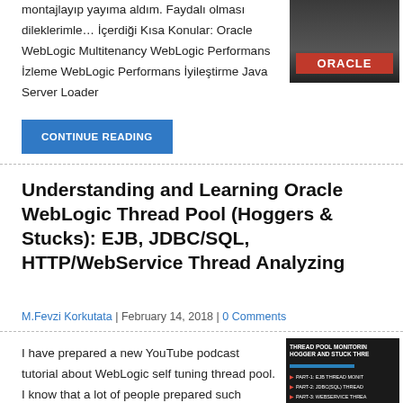montajlayıp yayıma aldım. Faydalı olması dileklerimle… İçerdiği Kısa Konular: Oracle WebLogic Multitenancy WebLogic Performans İzleme WebLogic Performans İyileştirme Java Server Loader
[Figure (photo): Photo of a person speaking at an Oracle event with Oracle branding visible]
CONTINUE READING
Understanding and Learning Oracle WebLogic Thread Pool (Hoggers & Stucks): EJB, JDBC/SQL, HTTP/WebService Thread Analyzing
M.Fevzi Korkutata | February 14, 2018 | 0 Comments
I have prepared a new YouTube podcast tutorial about WebLogic self tuning thread pool. I know that a lot of people prepared such WebLogic Hogger/Stuck thread tutorials. However this topic would be up to date unless Oracle change the
[Figure (screenshot): Screenshot of a video tutorial about Thread Pool Monitoring, Hogger and Stuck threads, with parts covering EJB Thread Monitoring, JDBC/SQL Thread, and WebService Thread]